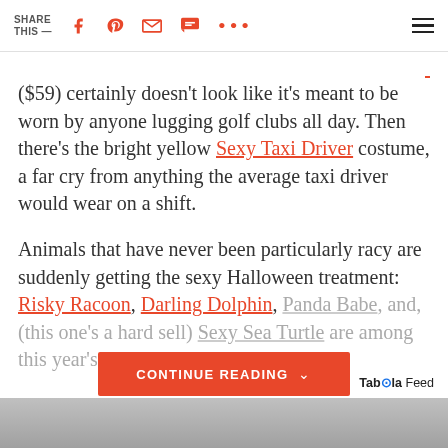SHARE THIS —
($59) certainly doesn't look like it's meant to be worn by anyone lugging golf clubs all day. Then there's the bright yellow Sexy Taxi Driver costume, a far cry from anything the average taxi driver would wear on a shift.
Animals that have never been particularly racy are suddenly getting the sexy Halloween treatment: Risky Racoon, Darling Dolphin, Panda Babe, and, (this one's a hard sell) Sexy Sea Turtle are among this year's costumes on